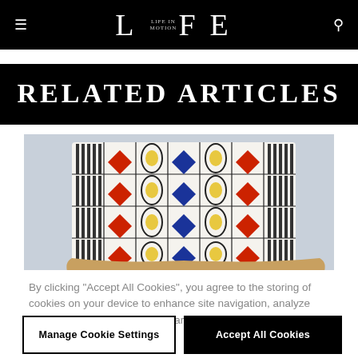LIFE (magazine logo with hamburger menu and search icon)
RELATED ARTICLES
[Figure (photo): A wooden chair with a geometric patterned cushion featuring red diamonds, blue diamonds, and yellow oval shapes on a white background with black grid lines. The chair has light beechwood arms visible at the bottom right.]
By clicking "Accept All Cookies", you agree to the storing of cookies on your device to enhance site navigation, analyze site usage, and assist in our marketing efforts.
Manage Cookie Settings
Accept All Cookies